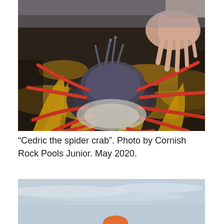[Figure (photo): Close-up photograph of a large spider crab with reddish-orange spiny legs being held by human hands, resting on kelp/seaweed covered rocks.]
“Cedric the spider crab”. Photo by Cornish Rock Pools Junior. May 2020.
[Figure (photo): Partial photograph showing a blurred outdoor scene with a pale blue-grey sky and an orange object at the bottom edge, appearing to be taken outdoors near the sea.]